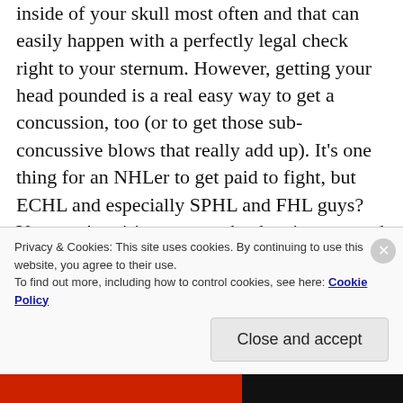inside of your skull most often and that can easily happen with a perfectly legal check right to your sternum. However, getting your head pounded is a real easy way to get a concussion, too (or to get those sub-concussive blows that really add up). It's one thing for an NHLer to get paid to fight, but ECHL and especially SPHL and FHL guys? You aren't retiring on your hockey income and can't really afford to destroy yourself to just be a sideshow. Even in the NHL, there are no pure fighters. You can't afford to roster one and the Vegas Golden Knights officially killed it off with how they thrived on a third- and fourth-line that could be
Privacy & Cookies: This site uses cookies. By continuing to use this website, you agree to their use.
To find out more, including how to control cookies, see here: Cookie Policy
Close and accept